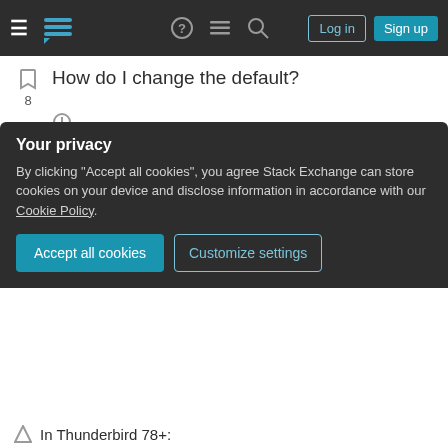Stack Exchange navigation bar with Log in and Sign up buttons
How do I change the default?
thunderbird
encoding
utf-8
Share
Improve this question
Follow
edited Jun 26, 2013 at 18:15
Breakthrough
33.8k • 10 • 104 • 148
asked May 25, 2011 at 19:01
hpy
5,861 • 19 • 59 • 85
Your privacy
By clicking "Accept all cookies", you agree Stack Exchange can store cookies on your device and disclose information in accordance with our Cookie Policy.
Accept all cookies
Customize settings
In Thunderbird 78+: